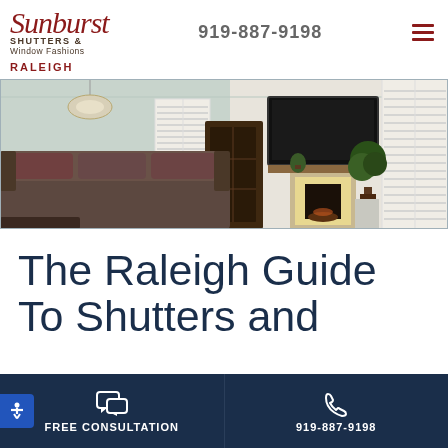[Figure (logo): Sunburst Shutters & Window Fashions Raleigh logo with phone number 919-887-9198 and hamburger menu icon]
[Figure (photo): Interior living room photo showing white plantation shutters on windows, a fireplace, large flat screen TV, brown leather sofas, and decorative plants]
The Raleigh Guide To Shutters and
FREE CONSULTATION | 919-887-9198